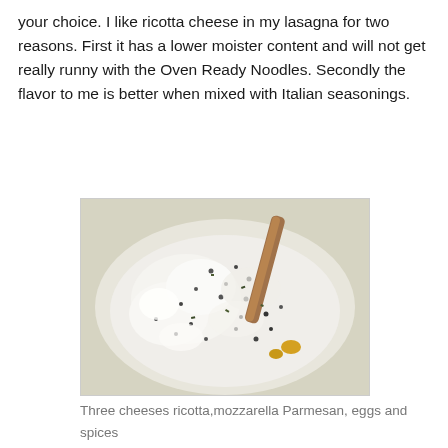your choice. I like ricotta cheese in my lasagna for two reasons. First it has a lower moister content and will not get really runny with the Oven Ready Noodles. Secondly the flavor to me is better when mixed with Italian seasonings.
[Figure (photo): A white bowl containing ricotta cheese mixed with spices (pepper visible), eggs, and a wooden spoon/spatula, viewed from above.]
Three cheeses ricotta,mozzarella Parmesan, eggs and spices